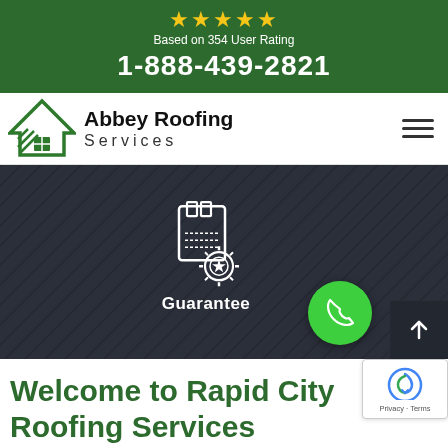[Figure (infographic): Five gold stars rating display with text 'Based on 354 User Rating' and phone number '1-888-439-2821' on a dark green background]
[Figure (logo): Abbey Roofing Services logo with green rooftop icon and company name]
[Figure (infographic): Dark hero banner with guarantee icon (certificate with seal), 'Guarantee' label, green phone button, and scroll-to-top arrow button]
Welcome to Rapid City Roofing Services